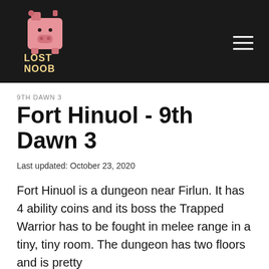[Figure (logo): Lost Noob website logo: pink cartoon pig/building character above stylized text reading LOST NOOB in yellow/cream chunky font, on dark background]
Lost Noob
9TH DAWN 3
Fort Hinuol - 9th Dawn 3
Last updated: October 23, 2020
Fort Hinuol is a dungeon near Firlun. It has 4 ability coins and its boss the Trapped Warrior has to be fought in melee range in a tiny, tiny room. The dungeon has two floors and is pretty